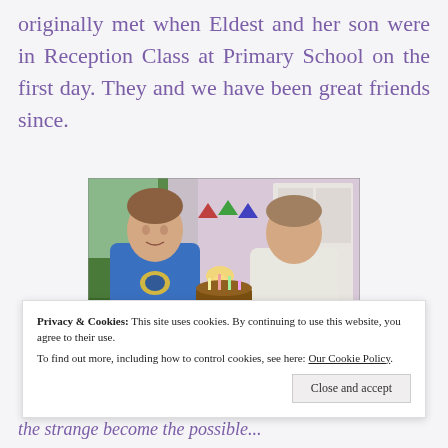originally met when Eldest and her son were in Reception Class at Primary School on the first day. They and we have been great friends since.
[Figure (photo): Two boys standing side by side indoors. The boy on the left wears a blue Brazil football shirt, the boy on the right wears a white t-shirt. There is a birthday cake with candles on a table in front of them. The background shows a kitchen/dining room with a cabinet, bunting decorations, and a lamp. There is greenery visible through a window or door on the left.]
Privacy & Cookies: This site uses cookies. By continuing to use this website, you agree to their use.
To find out more, including how to control cookies, see here: Our Cookie Policy
Close and accept
the strange become the possible...